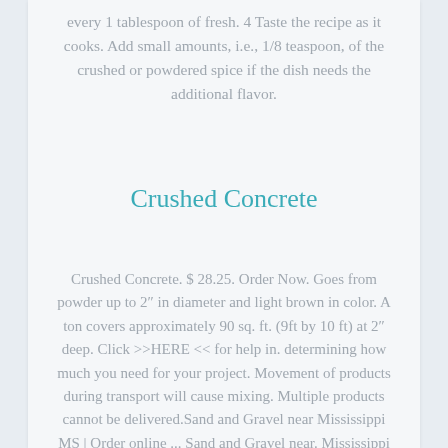every 1 tablespoon of fresh. 4 Taste the recipe as it cooks. Add small amounts, i.e., 1/8 teaspoon, of the crushed or powdered spice if the dish needs the additional flavor.
Crushed Concrete
Crushed Concrete. $ 28.25. Order Now. Goes from powder up to 2" in diameter and light brown in color. A ton covers approximately 90 sq. ft. (9ft by 10 ft) at 2" deep. Click >>HERE << for help in. determining how much you need for your project. Movement of products during transport will cause mixing. Multiple products cannot be delivered.Sand and Gravel near Mississippi MS | Order online ... Sand and Gravel near. Mississippi MS. Also known as Magnolia State. Please choose the county near you in the state of Mississippi. Adams County. ...